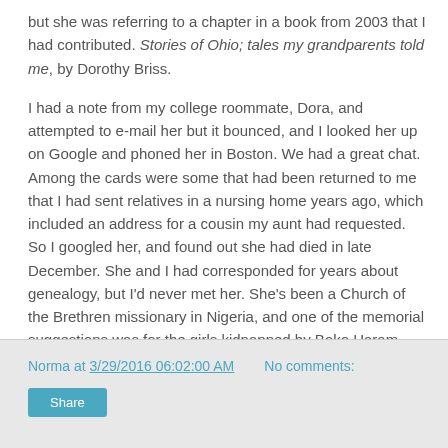but she was referring to a chapter in a book from 2003 that I had contributed. Stories of Ohio; tales my grandparents told me, by Dorothy Briss.
I had a note from my college roommate, Dora, and attempted to e-mail her but it bounced, and I looked her up on Google and phoned her in Boston. We had a great chat. Among the cards were some that had been returned to me that I had sent relatives in a nursing home years ago, which included an address for a cousin my aunt had requested. So I googled her, and found out she had died in late December. She and I had corresponded for years about genealogy, but I'd never met her. She's been a Church of the Brethren missionary in Nigeria, and one of the memorial suggestions was for the girls kidnapped by Boko Haram, because that was the area where she served. Marianne Michael was 98.
Norma at 3/29/2016 06:02:00 AM   No comments:   Share